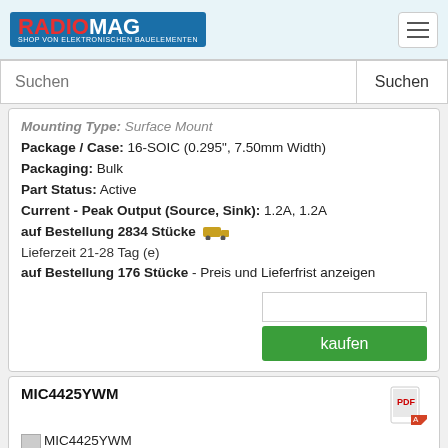RADIOMAG - SHOP VON ELEKTRONISCHEN BAUELEMENTEN
Suchen [search bar]
Mounting Type: Surface Mount
Package / Case: 16-SOIC (0.295", 7.50mm Width)
Packaging: Bulk
Part Status: Active
Current - Peak Output (Source, Sink): 1.2A, 1.2A
auf Bestellung 2834 Stücke
Lieferzeit 21-28 Tag (e)
auf Bestellung 176 Stücke - Preis und Lieferfrist anzeigen
kaufen
MIC4425YWM
Hersteller: Micrel Inc.
Description: DUAL 3A-PEAK LOW-SIDE MOSFET DRI
Part Status: Active
Current - Peak Output (Source, Sink): 3A, 3A
Logic Voltage - VIL, VIH: 0.8V, 2.4V